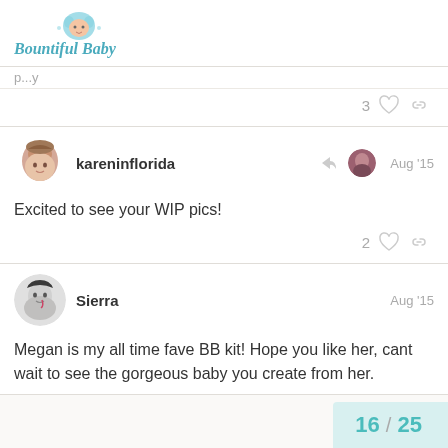Bountiful Baby
p...y
3 ♡ 🔗
kareninflorida  Aug '15
Excited to see your WIP pics!
2 ♡ 🔗
Sierra  Aug '15
Megan is my all time fave BB kit! Hope you like her, cant wait to see the gorgeous baby you create from her.
16 / 25